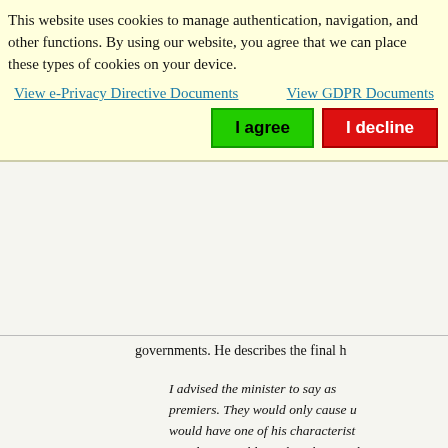This website uses cookies to manage authentication, navigation, and other functions. By using our website, you agree that we can place these types of cookies on your device.
View e-Privacy Directive Documents
View GDPR Documents
I agree
I decline
governments. He describes the final h
I advised the minister to say as premiers. They would only cause u would have one of his characterist mandarin's golden rule: what a poli
The bottom line for this reviewer? Th European government.
One thing that might keep Eppink's bo hard to imagine any Washington bur the r ht f l b f S